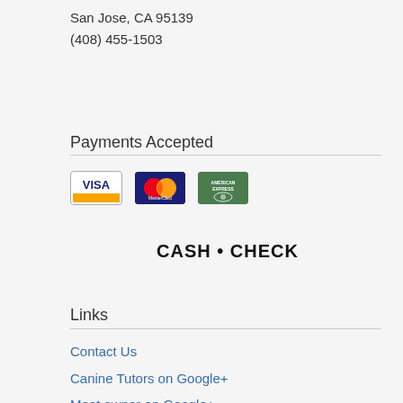San Jose, CA 95139
(408) 455-1503
Payments Accepted
[Figure (illustration): Payment method icons: Visa card, MasterCard, American Express card, and a CASH • CHECK text badge]
Links
Contact Us
Canine Tutors on Google+
Meet owner on Google+